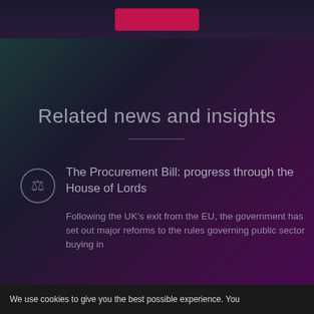[Figure (screenshot): Dark banner with a red/pink button at the top of the page]
Related news and insights
[Figure (logo): Circular icon with a hammer/gavel symbol, dark teal tinted]
The Procurement Bill: progress through the House of Lords
Following the UK's exit from the EU, the government has set out major reforms to the rules governing public sector buying in the Procurement Bill...
We use cookies to give you the best possible experience. You